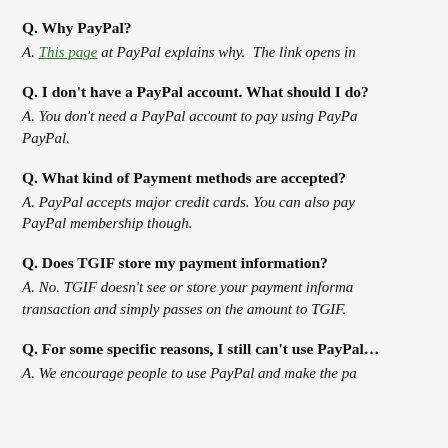Q. Why PayPal?
A. This page at PayPal explains why. The link opens in…
Q. I don't have a PayPal account. What should I do?
A. You don't need a PayPal account to pay using PayPa… PayPal.
Q. What kind of Payment methods are accepted?
A. PayPal accepts major credit cards. You can also pay… PayPal membership though.
Q. Does TGIF store my payment information?
A. No. TGIF doesn't see or store your payment informa… transaction and simply passes on the amount to TGIF.
Q. For some specific reasons, I still can't use PayPal…
A. We encourage people to use PayPal and make the pa…